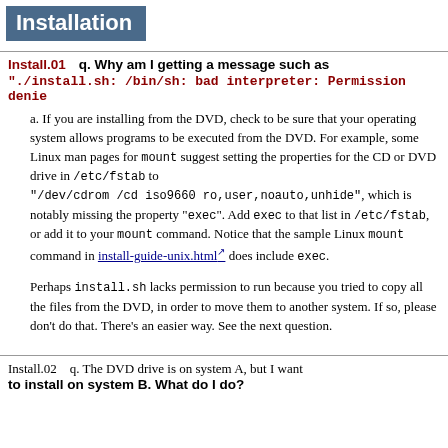Installation
Install.01   q. Why am I getting a message such as "./install.sh: /bin/sh: bad interpreter: Permission denie
a. If you are installing from the DVD, check to be sure that your operating system allows programs to be executed from the DVD. For example, some Linux man pages for mount suggest setting the properties for the CD or DVD drive in /etc/fstab to "/dev/cdrom /cd iso9660 ro,user,noauto,unhide", which is notably missing the property "exec". Add exec to that list in /etc/fstab, or add it to your mount command. Notice that the sample Linux mount command in install-guide-unix.html does include exec.
Perhaps install.sh lacks permission to run because you tried to copy all the files from the DVD, in order to move them to another system. If so, please don't do that. There's an easier way. See the next question.
Install.02   q. The DVD drive is on system A, but I want to install on system B. What do I do?